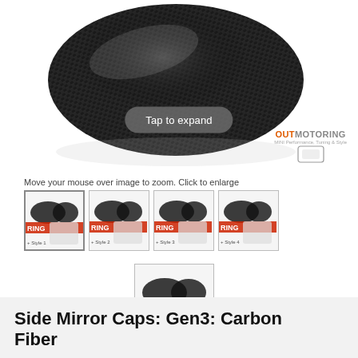[Figure (photo): Close-up photo of carbon fiber side mirror cap with glossy carbon weave texture on white background. OutMotoring logo visible in bottom-right corner. 'Tap to expand' button overlaid.]
Move your mouse over image to zoom. Click to enlarge
[Figure (photo): Row of four product thumbnail images showing OutMotoring carbon fiber side mirror caps with '+ Style' label. Single thumbnail below.]
Side Mirror Caps: Gen3: Carbon Fiber